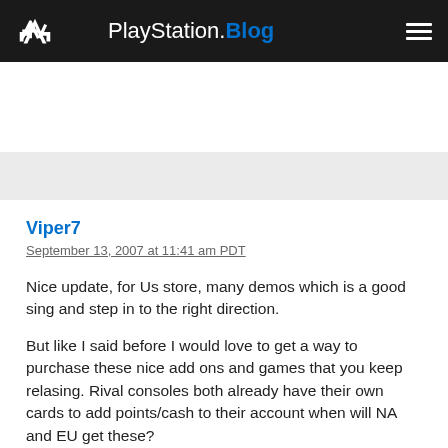PlayStation.Blog
Viper7
September 13, 2007 at 11:41 am PDT
Nice update, for Us store, many demos which is a good sing and step in to the right direction.
But like I said before I would love to get a way to purchase these nice add ons and games that you keep relasing. Rival consoles both already have their own cards to add points/cash to their account when will NA and EU get these?
They are already out on japan so?